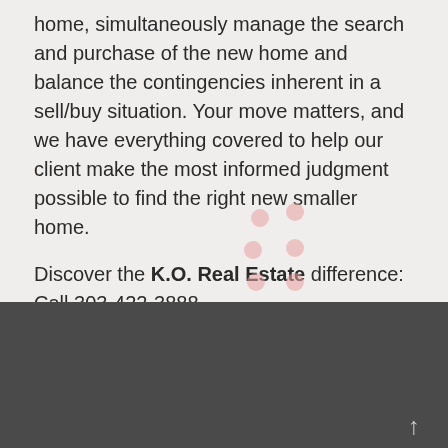home, simultaneously manage the search and purchase of the new home and balance the contingencies inherent in a sell/buy situation. Your move matters, and we have everything covered to help our client make the most informed judgment possible to find the right new smaller home.
Discover the K.O. Real Estate difference: Call 303-422-3888
[Figure (logo): K.O. Real Estate logo — illustration of a house with trees and a sold sign, with large red 'K.O.' text and trademark symbol below]